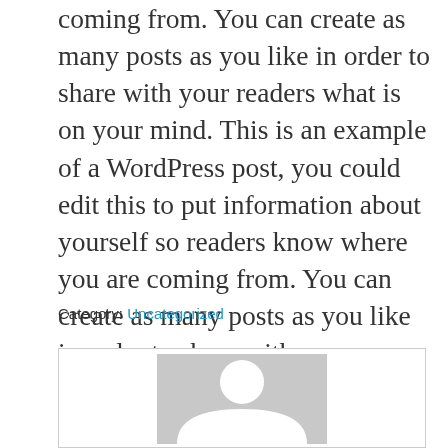coming from. You can create as many posts as you like in order to share with your readers what is on your mind. This is an example of a WordPress post, you could edit this to put information about yourself so readers know where you are coming from. You can create as many posts as you like in order to share with your readers what is on your mind.
Category: Uncategorized
[Figure (illustration): A light gray avatar placeholder box with a white silhouette of a person (head and shoulders) centered within it, displayed inside a white bordered comment/profile box.]